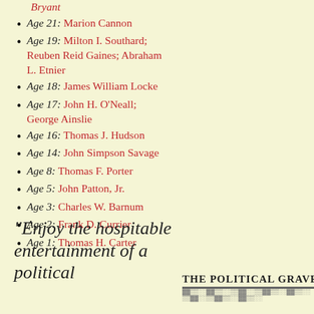Age 21: Marion Cannon
Age 19: Milton I. Southard; Reuben Reid Gaines; Abraham L. Etnier
Age 18: James William Locke
Age 17: John H. O'Neall; George Ainslie
Age 16: Thomas J. Hudson
Age 14: John Simpson Savage
Age 8: Thomas F. Porter
Age 5: John Patton, Jr.
Age 3: Charles W. Barnum
Age 2: Frank D. Currier
Age 1: Thomas H. Carter
"Enjoy the hospitable entertainment of a political
[Figure (other): THE POLITICAL GRAVE[Y] header with decorative border underneath]